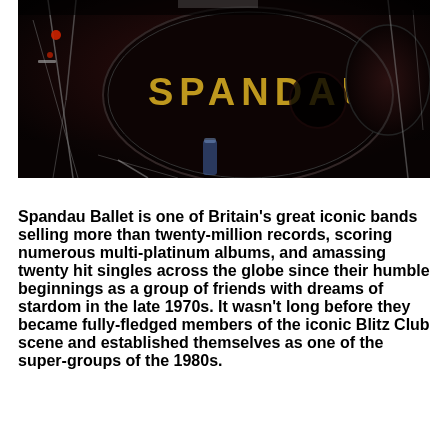[Figure (photo): Dark stage photograph showing a Spandau Ballet bass drum kit with the word 'SPANDAU' written in gold/yellow letters on the drum head, surrounded by drum hardware, stands, and stage lighting in a dark venue.]
Spandau Ballet is one of Britain's great iconic bands selling more than twenty-million records, scoring numerous multi-platinum albums, and amassing twenty hit singles across the globe since their humble beginnings as a group of friends with dreams of stardom in the late 1970s. It wasn't long before they became fully-fledged members of the iconic Blitz Club scene and established themselves as one of the super-groups of the 1980s.